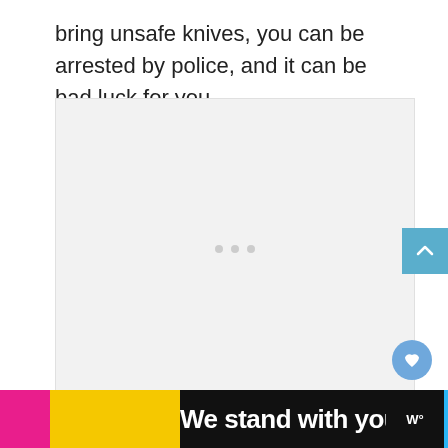bring unsafe knives, you can be arrested by police, and it can be bad luck for you.
[Figure (other): Large image placeholder area with three loading dots in the center, light gray background]
[Figure (other): Blue 'back to top' arrow button on the right side]
[Figure (other): Blue circular heart/favorite button in lower right]
[Figure (other): Advertisement banner at bottom reading 'We stand with you.' with magenta, yellow, and cyan color blocks, close button, and logo]